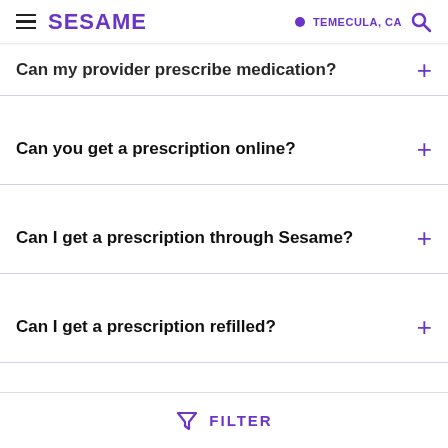SESAME | TEMECULA, CA
Can my provider prescribe medication?
Can you get a prescription online?
Can I get a prescription through Sesame?
Can I get a prescription refilled?
FILTER